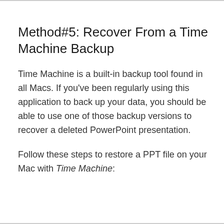Method#5: Recover From a Time Machine Backup
Time Machine is a built-in backup tool found in all Macs. If you've been regularly using this application to back up your data, you should be able to use one of those backup versions to recover a deleted PowerPoint presentation.
Follow these steps to restore a PPT file on your Mac with Time Machine: